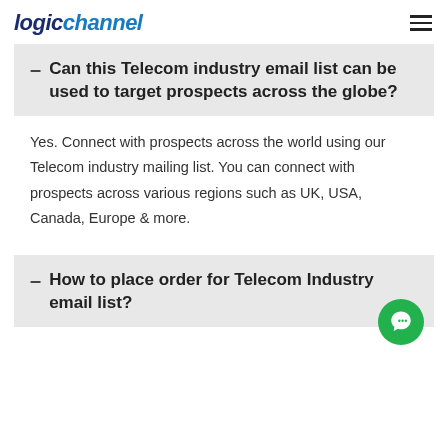logichannel
– Can this Telecom industry email list can be used to target prospects across the globe?
Yes. Connect with prospects across the world using our Telecom industry mailing list. You can connect with prospects across various regions such as UK, USA, Canada, Europe & more.
– How to place order for Telecom Industry email list?